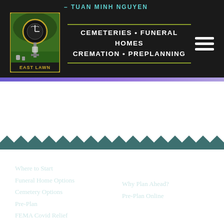– TUAN MINH NGUYEN
[Figure (logo): East Lawn Cemeteries logo — circular badge with a clock and lantern on a green background with cemetery scenery]
CEMETERIES • FUNERAL HOMES CREMATION • PREPLANNING
OFFERINGS
Where to Start
Funeral Home Options
Cemetery Options
Pre-Plan
FEMA Covid Relief
OBITUARIES
PRE-PLAN
Why Plan Ahead?
Pre-Plan Online
RESOURCES